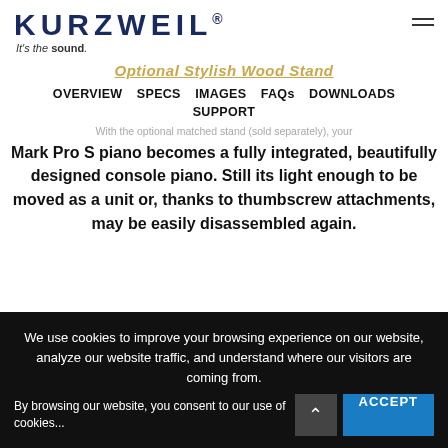KURZWEIL® It's the sound.
Optional Stylish Wood Stand
OVERVIEW  SPECS  IMAGES  FAQs  DOWNLOADS  SUPPORT
With the optional matched stand (sold separately), your Mark Pro S piano becomes a fully integrated, beautifully designed console piano. Still its light enough to be moved as a unit or, thanks to thumbscrew attachments, may be easily disassembled again.
We use cookies to improve your browsing experience on our website, analyze our website traffic, and understand where our visitors are coming from.

By browsing our website, you consent to our use of cookies...